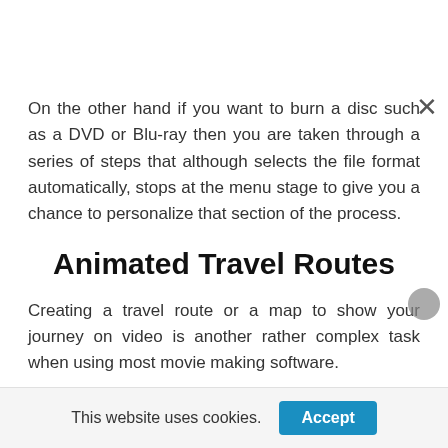On the other hand if you want to burn a disc such as a DVD or Blu-ray then you are taken through a series of steps that although selects the file format automatically, stops at the menu stage to give you a chance to personalize that section of the process.
Animated Travel Routes
Creating a travel route or a map to show your journey on video is another rather complex task when using most movie making software.
This website uses cookies.